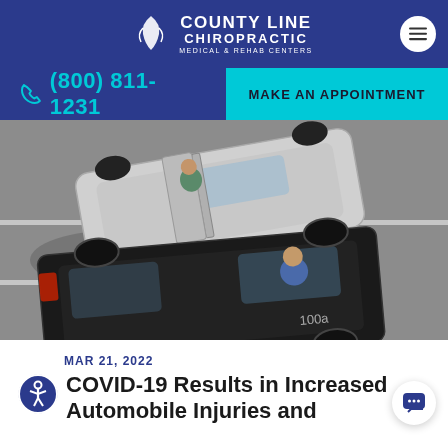County Line Chiropractic Medical & Rehab Centers
(800) 811-1231   MAKE AN APPOINTMENT
[Figure (photo): Aerial view of two cars involved in an automobile accident on a road, one white car and one dark/black station wagon, with a person visible exiting the white car.]
MAR 21, 2022
COVID-19 Results in Increased Automobile Injuries and